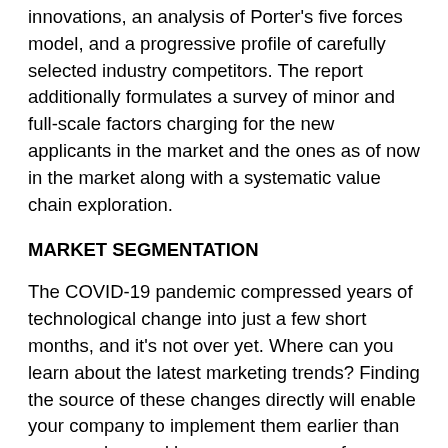innovations, an analysis of Porter's five forces model, and a progressive profile of carefully selected industry competitors. The report additionally formulates a survey of minor and full-scale factors charging for the new applicants in the market and the ones as of now in the market along with a systematic value chain exploration.
MARKET SEGMENTATION
The COVID-19 pandemic compressed years of technological change into just a few short months, and it's not over yet. Where can you learn about the latest marketing trends? Finding the source of these changes directly will enable your company to implement them earlier than anyone else, and keep your company from falling behind. That's why we have segmented Over-the-Top Services (OTT) market for the nested and bottom-up approach to guide strategic and tactical decision-making.